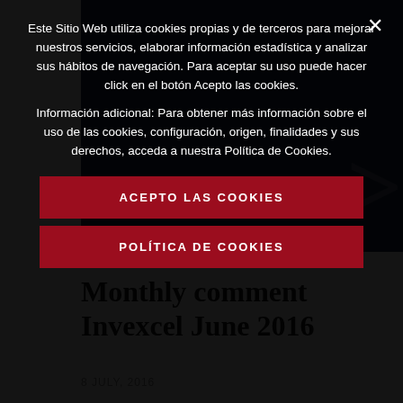Este Sitio Web utiliza cookies propias y de terceros para mejorar nuestros servicios, elaborar información estadística y analizar sus hábitos de navegación. Para aceptar su uso puede hacer click en el botón Acepto las cookies.
Información adicional: Para obtener más información sobre el uso de las cookies, configuración, origen, finalidades y sus derechos, acceda a nuestra Política de Cookies.
ACEPTO LAS COOKIES
POLÍTICA DE COOKIES
[Figure (illustration): Dark navy blue banner image with faint white decorative symbol on the right side]
Monthly comment Invexcel June 2016
8 JULY, 2016